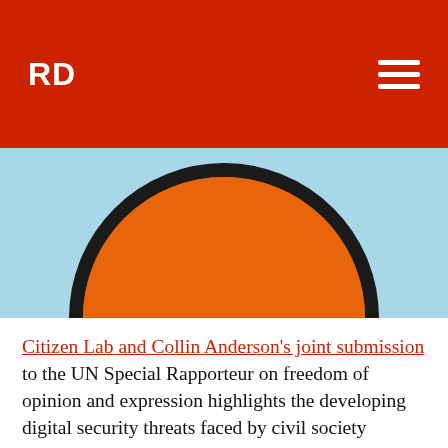RD
[Figure (photo): Abstract image showing an orange semicircle with a thick black border/outline on a light blue background, cropped from below.]
Citizen Lab and Collin Anderson’s joint submission to the UN Special Rapporteur on freedom of opinion and expression highlights the developing digital security threats faced by civil society organisations:
‘Even when Western governments are aware of active digital espionage operations conducted by foreign